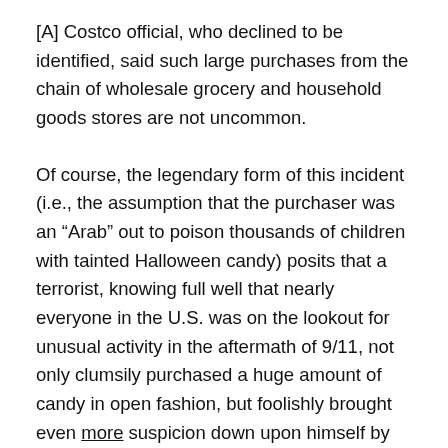[A] Costco official, who declined to be identified, said such large purchases from the chain of wholesale grocery and household goods stores are not uncommon.
Of course, the legendary form of this incident (i.e., the assumption that the purchaser was an “Arab” out to poison thousands of children with tainted Halloween candy) posits that a terrorist, knowing full well that nearly everyone in the U.S. was on the lookout for unusual activity in the aftermath of 9/11, not only clumsily purchased a huge amount of candy in open fashion, but foolishly brought even more suspicion down upon himself by using phony Costco cards instead of spending a few dollars more elsewhere